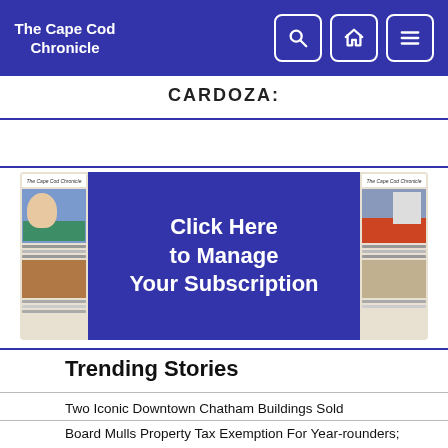The Cape Cod Chronicle
CARDOZA:
[Figure (illustration): Advertisement banner showing 'Click Here to Manage Your Subscription' with newspaper front page images on left and right sides, blue center panel.]
Trending Stories
Two Iconic Downtown Chatham Buildings Sold
Board Mulls Property Tax Exemption For Year-rounders; Could Decide Next Week
Harwich Port Development Gets Nod